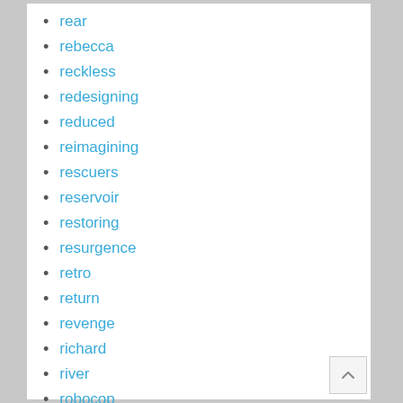rear
rebecca
reckless
redesigning
reduced
reimagining
rescuers
reservoir
restoring
resurgence
retro
return
revenge
richard
river
robocop
rock
rocket